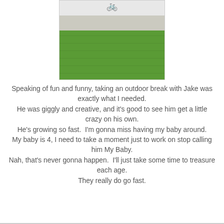[Figure (photo): Child riding a toy car/tricycle on a driveway with green grass in the background, viewed from above/behind]
Speaking of fun and funny, taking an outdoor break with Jake was exactly what I needed.
He was giggly and creative, and it's good to see him get a little crazy on his own.
He's growing so fast.  I'm gonna miss having my baby around.
My baby is 4, I need to take a moment just to work on stop calling him My Baby.
Nah, that's never gonna happen.  I'll just take some time to treasure each age.
They really do go fast.